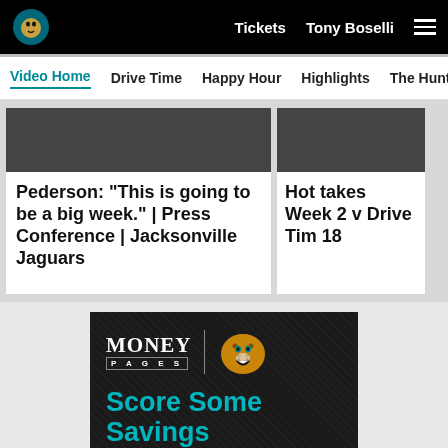Tickets  Tony Boselli  ☰
Video Home  Drive Time  Happy Hour  Highlights  The Hunt  G
Pederson: "This is going to be a big week." | Press Conference | Jacksonville Jaguars
Hot takes Week 2 v Drive Tim 18
[Figure (illustration): Money Pages advertisement banner with Jacksonville Jaguars logo, teal text reading 'Score Some Savings' and white text 'And Sizzling']